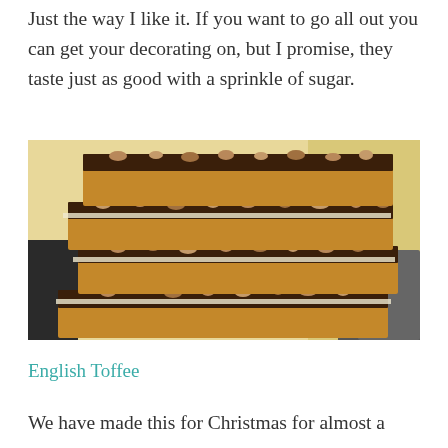Just the way I like it. If you want to go all out you can get your decorating on, but I promise, they taste just as good with a sprinkle of sugar.
[Figure (photo): Stacked pieces of English toffee coated with dark chocolate and chopped pecans, layered with parchment paper, on a light background.]
English Toffee
We have made this for Christmas for almost a